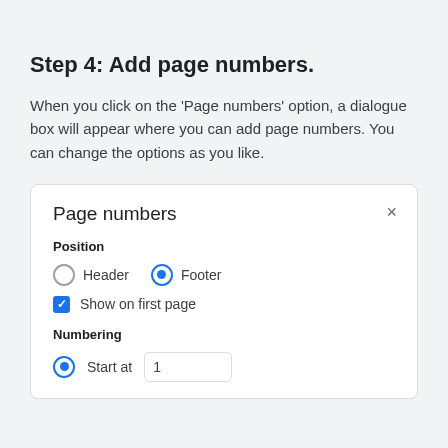Step 4: Add page numbers.
When you click on the 'Page numbers' option, a dialogue box will appear where you can add page numbers. You can change the options as you like.
[Figure (screenshot): A dialog box titled 'Page numbers' with a close (×) button. It shows Position options with radio buttons for Header (unchecked) and Footer (selected/blue). Below that is a checked checkbox for 'Show on first page'. Then a Numbering section with a radio button selected for 'Start at' and an input field showing the value 1.]